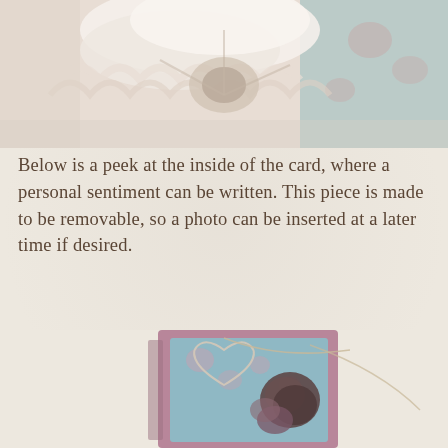[Figure (photo): Top portion of a shabby chic handmade card with tulle, lace, and floral fabric elements in pale pink and beige tones]
Below is a peek at the inside of the card, where a personal sentiment can be written. This piece is made to be removable, so a photo can be inserted at a later time if desired.
[Figure (photo): Handmade shabby chic card interior showing layered blue floral patterned paper, dusty rose/mauve cardstock, decorative wire heart, dried flower embellishment, and twine, photographed from above on a cream background]